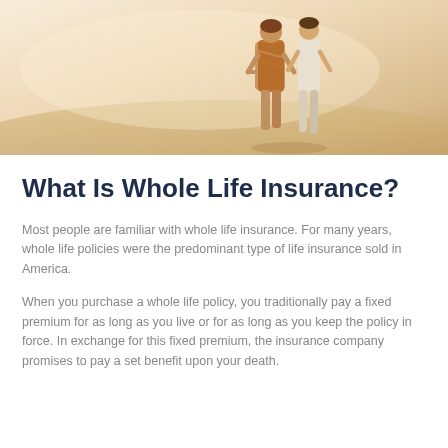[Figure (photo): Two people walking on a sandy beach, viewed from behind. Warm sandy tones with soft sunlight. One person is wearing a colorful wrap/shawl and the other is in light clothing.]
What Is Whole Life Insurance?
Most people are familiar with whole life insurance. For many years, whole life policies were the predominant type of life insurance sold in America.
When you purchase a whole life policy, you traditionally pay a fixed premium for as long as you live or for as long as you keep the policy in force. In exchange for this fixed premium, the insurance company promises to pay a set benefit upon your death.